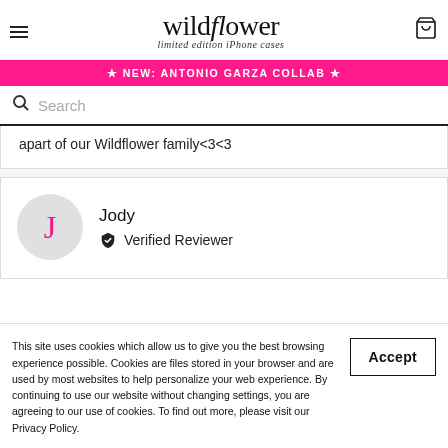wildflower limited edition iPhone cases
★ NEW: ANTONIO GARZA COLLAB ★
Search
apart of our Wildflower family<3<3
Jody
Verified Reviewer
This site uses cookies which allow us to give you the best browsing experience possible. Cookies are files stored in your browser and are used by most websites to help personalize your web experience. By continuing to use our website without changing settings, you are agreeing to our use of cookies. To find out more, please visit our Privacy Policy.